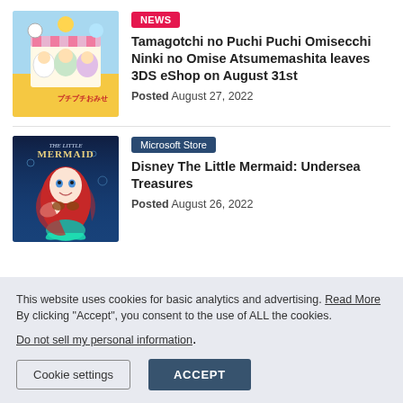[Figure (illustration): Tamagotchi no Puchi Puchi Omisecchi game cover art with colorful cartoon characters]
NEWS
Tamagotchi no Puchi Puchi Omisecchi Ninki no Omise Atsumemashita leaves 3DS eShop on August 31st
Posted August 27, 2022
[Figure (illustration): Disney The Little Mermaid: Undersea Treasures game cover with Ariel]
Microsoft Store
Disney The Little Mermaid: Undersea Treasures
Posted August 26, 2022
This website uses cookies for basic analytics and advertising. Read More By clicking "Accept", you consent to the use of ALL the cookies.
Do not sell my personal information.
Cookie settings
ACCEPT